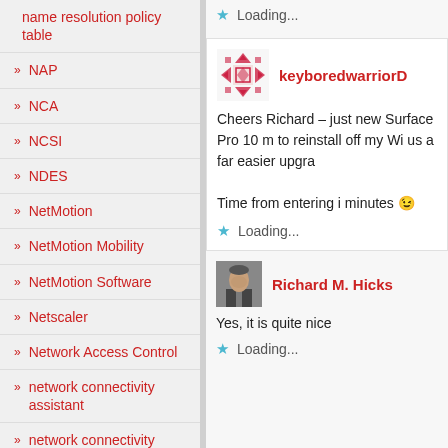name resolution policy table
NAP
NCA
NCSI
NDES
NetMotion
NetMotion Mobility
NetMotion Software
Netscaler
Network Access Control
network connectivity assistant
network connectivity
Loading...
keyboredwarriorD
Cheers Richard – just new Surface Pro 10 m to reinstall off my Wi us a far easier upgra

Time from entering i minutes 😉
Loading...
Richard M. Hicks
Yes, it is quite nice
Loading...